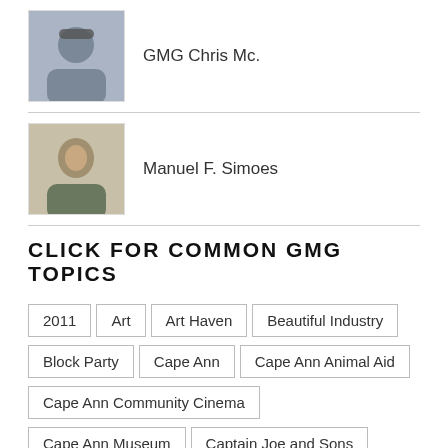[Figure (photo): Profile photo of GMG Chris Mc., a person with sunglasses outdoors]
GMG Chris Mc.
[Figure (photo): Profile photo of Manuel F. Simoes, an older man smiling]
Manuel F. Simoes
CLICK FOR COMMON GMG TOPICS
2011
Art
Art Haven
Beautiful Industry
Block Party
Cape Ann
Cape Ann Animal Aid
Cape Ann Community Cinema
Cape Ann Museum
Captain Joe and Sons
Charadrius melodus
Chickity check it!
chris mccarthy
Dancing
David B. Cox